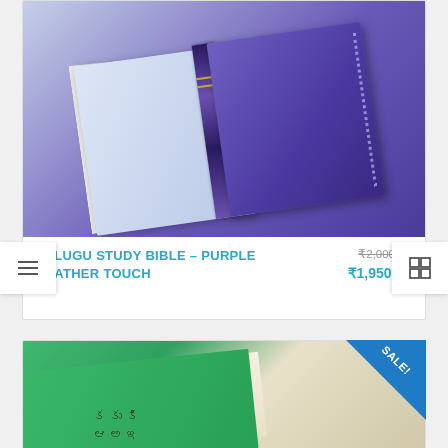[Figure (photo): Purple and white leather-touch study Bible shown at an angle, displaying spine and cover with gold lettering]
TELUGU STUDY BIBLE – PURPLE LEATHER TOUCH
₹2,000.00 (original price, strikethrough) ₹1,950.00 (sale price)
[Figure (photo): Green leather-touch Bible partially visible at bottom of page, with SALE! ribbon badge in top right corner]